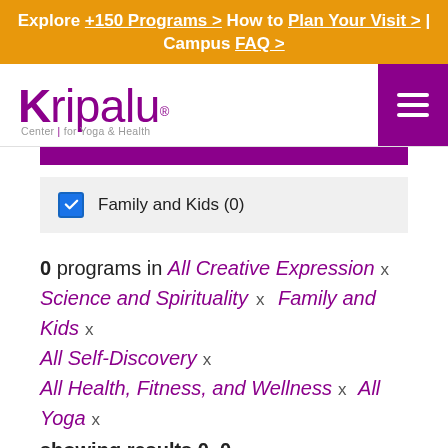Explore +150 Programs > How to Plan Your Visit > | Campus FAQ >
[Figure (logo): Kripalu Center for Yoga & Health logo in purple]
Family and Kids (0) [checked checkbox]
0 programs in All Creative Expression x Science and Spirituality x Family and Kids x All Self-Discovery x All Health, Fitness, and Wellness x All Yoga x
showing results 0–0
Unfortunately, we do not have any programs